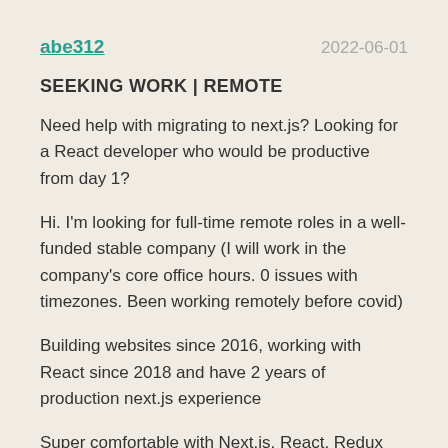abe312   2022-06-01
SEEKING WORK | REMOTE
Need help with migrating to next.js? Looking for a React developer who would be productive from day 1?
Hi. I'm looking for full-time remote roles in a well-funded stable company (I will work in the company's core office hours. 0 issues with timezones. Been working remotely before covid)
Building websites since 2016, working with React since 2018 and have 2 years of production next.js experience
Super comfortable with Next.js, React, Redux (with